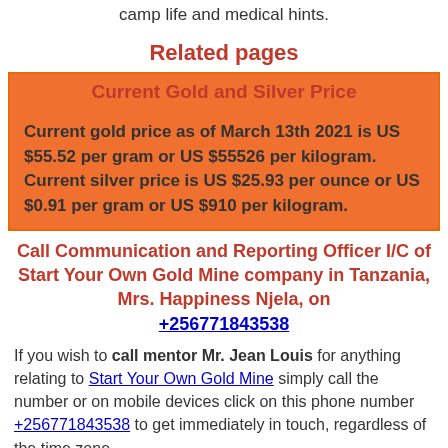camp life and medical hints.
Related pages
| Current Gold and Silver Price |
| --- |
| Current gold price as of March 13th 2021 is US $55.52 per gram or US $55526 per kilogram. Current silver price is US $25.93 per ounce or US $0.91 per gram or US $910 per kilogram. |
Call Communication and Reporting Officer I/C of Start Your Own Gold Mine company in Tanzania, Mrs. Happiness Njela, on +256771843538
If you wish to call mentor Mr. Jean Louis for anything relating to Start Your Own Gold Mine simply call the number or on mobile devices click on this phone number +256771843538 to get immediately in touch, regardless of the time zone.
Current location of Mentor to Start Your Own